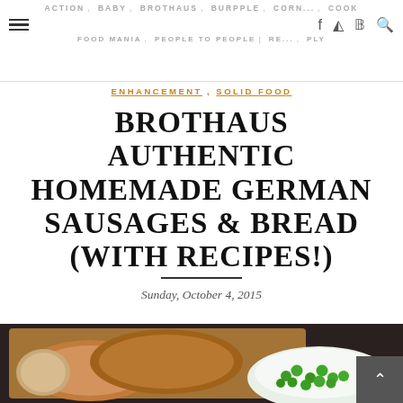ACTION , BABY , BROTHAUS , BURPPLE , CORN... , COOK , FOOD MANIA , PEOPLE TO PEOPLE , RE... , PLY
ENHANCEMENT , SOLID FOOD
BROTHAUS AUTHENTIC HOMEMADE GERMAN SAUSAGES & BREAD (WITH RECIPES!)
Sunday, October 4, 2015
[Figure (photo): Photo of German bread loaves on a wooden cutting board alongside a white bowl filled with green peas, on a dark background.]